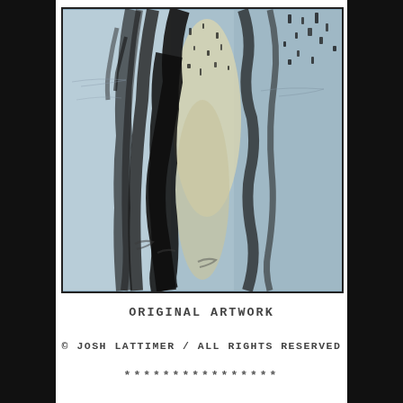[Figure (photo): Abstract close-up photograph of water reflections or wet pavement showing dark black streaks and marks on a pale blue-grey background with yellowish-white areas, creating an abstract pattern.]
ORIGINAL ARTWORK
© JOSH LATTIMER / ALL RIGHTS RESERVED
****************